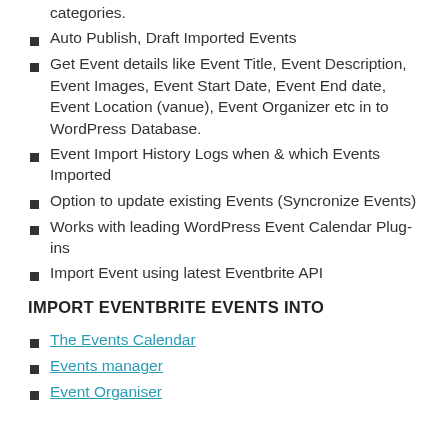categories.
Auto Publish, Draft Imported Events
Get Event details like Event Title, Event Description, Event Images, Event Start Date, Event End date, Event Location (vanue), Event Organizer etc in to WordPress Database.
Event Import History Logs when & which Events Imported
Option to update existing Events (Syncronize Events)
Works with leading WordPress Event Calendar Plug-ins
Import Event using latest Eventbrite API
IMPORT EVENTBRITE EVENTS INTO
The Events Calendar
Events manager
Event Organiser